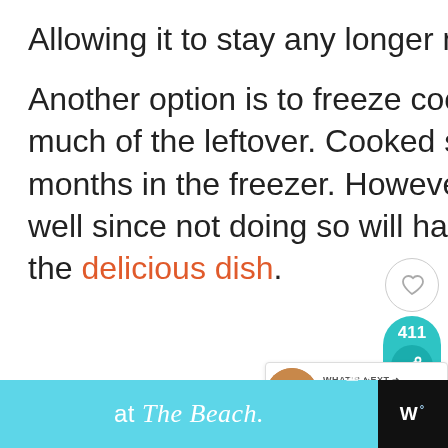Allowing it to stay any longer may not be a safe choice.
Another option is to freeze cooked salmon if there is too much of the leftover. Cooked salmon can last up to two months in the freezer. However, you will need to pack it well since not doing so will have an effect on the taste of the delicious dish.
[Figure (other): Social sharing sidebar widget with heart/like button and teal share bubble showing count 411]
[Figure (other): What's Next widget showing a circular food image and text 'How To Tell If Eggs Are Bad']
[Figure (other): Advertisement banner at the bottom reading 'at The Beach.' on a light blue background with close button and logo]